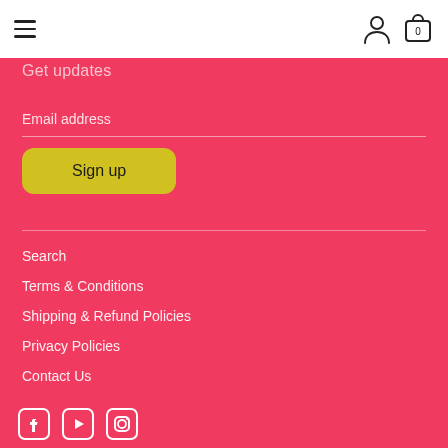Navigation bar with hamburger menu, user icon, and cart with 0
Get updates
Email address
Sign up
Search
Terms & Conditions
Shipping & Refund Policies
Privacy Policies
Contact Us
[Figure (illustration): Social media icons: Facebook, YouTube, Instagram]